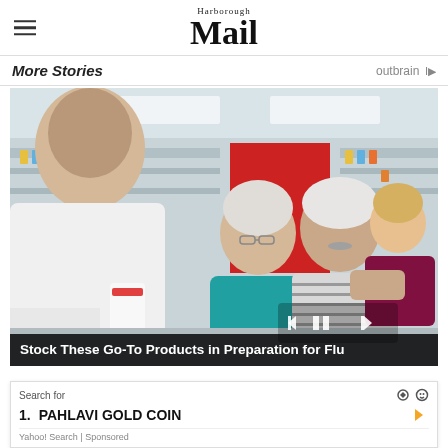Harborough Mail
More Stories
[Figure (photo): Elderly couple with a young child speaking to a pharmacist in a pharmacy store. The pharmacy has shelves with products visible in the background. Video player controls are visible on the photo overlay.]
Stock These Go-To Products in Preparation for Flu
Search for
1. PAHLAVI GOLD COIN
Yahoo! Search | Sponsored